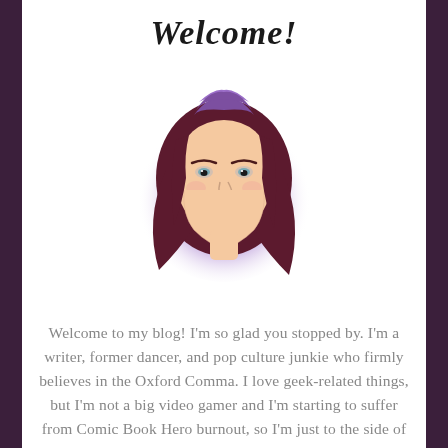Welcome!
[Figure (illustration): Cartoon/illustration portrait of a smiling woman with long dark red and purple hair, set against a soft purple glowing circular background]
Welcome to my blog! I'm so glad you stopped by. I'm a writer, former dancer, and pop culture junkie who firmly believes in the Oxford Comma. I love geek-related things, but I'm not a big video gamer and I'm starting to suffer from Comic Book Hero burnout, so I'm just to the side of geek